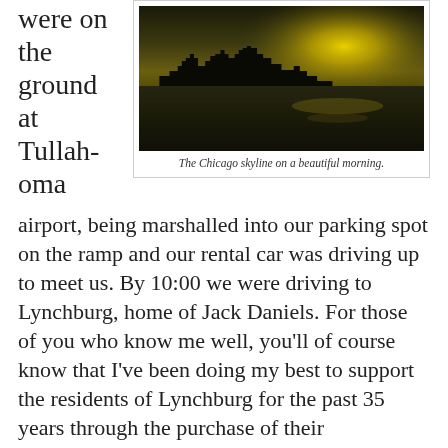were on the ground at Tullahoma
[Figure (photo): The Chicago skyline on a beautiful morning, dark silhouette against a bright golden sky with water in the foreground.]
The Chicago skyline on a beautiful morning.
airport, being marshalled into our parking spot on the ramp and our rental car was driving up to meet us. By 10:00 we were driving to Lynchburg, home of Jack Daniels. For those of you who know me well, you'll of course know that I've been doing my best to support the residents of Lynchburg for the past 35 years through the purchase of their